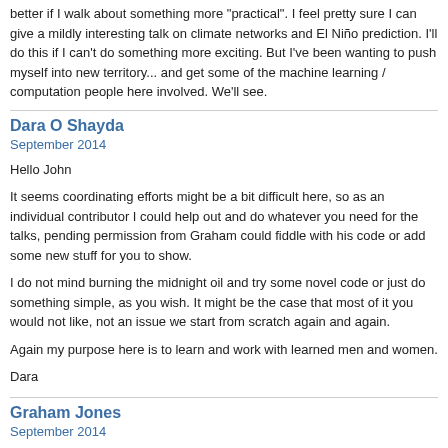better if I walk about something more "practical". I feel pretty sure I can give a mildly interesting talk on climate networks and El Niño prediction. I'll do this if I can't do something more exciting. But I've been wanting to push myself into new territory... and get some of the machine learning / computation people here involved. We'll see.
Dara O Shayda
September 2014
Hello John
It seems coordinating efforts might be a bit difficult here, so as an individual contributor I could help out and do whatever you need for the talks, pending permission from Graham could fiddle with his code or add some new stuff for you to show.
I do not mind burning the midnight oil and try some novel code or just do something simple, as you wish. It might be the case that most of it you would not like, not an issue we start from scratch again and again.
Again my purpose here is to learn and work with learned men and women.
Dara
Graham Jones
September 2014